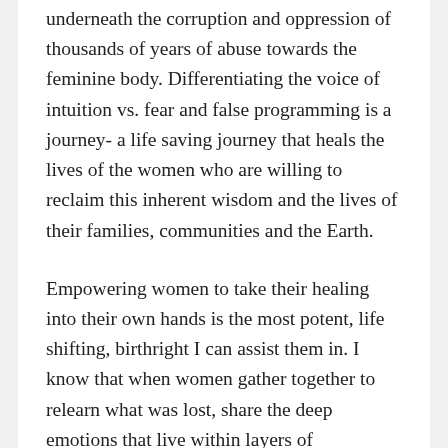underneath the corruption and oppression of thousands of years of abuse towards the feminine body. Differentiating the voice of intuition vs. fear and false programming is a journey- a life saving journey that heals the lives of the women who are willing to reclaim this inherent wisdom and the lives of their families, communities and the Earth.
Empowering women to take their healing into their own hands is the most potent, life shifting, birthright I can assist them in. I know that when women gather together to relearn what was lost, share the deep emotions that live within layers of disconnection and deception hiding their voice of